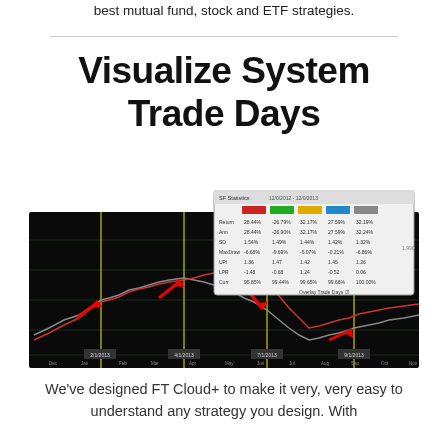best mutual fund, stock and ETF strategies.
Visualize System Trade Days
[Figure (screenshot): A screenshot showing a trading system chart on a black background with price/equity curves, yellow vertical lines marking trade days, red arrows pointing to buy/sell signals, and an overlaid statistics table showing metrics like Return, Ann, SD, MaxDraw, UPI, LPR, Corr for multiple colored strategies (red, green, yellow, blue, gray) over the period 12/0/2012 - 12/0/2013.]
We've designed FT Cloud+ to make it very, very easy to understand any strategy you design. With